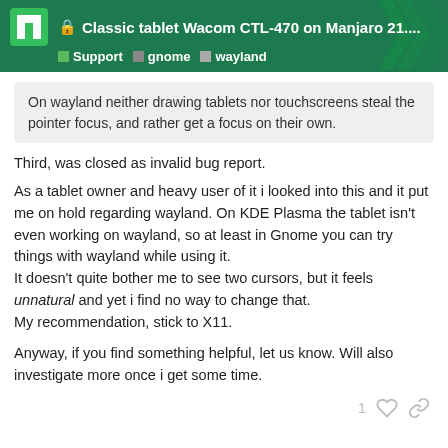Classic tablet Wacom CTL-470 on Manjaro 21.... Support gnome wayland
On wayland neither drawing tablets nor touchscreens steal the pointer focus, and rather get a focus on their own.
Third, was closed as invalid bug report.
As a tablet owner and heavy user of it i looked into this and it put me on hold regarding wayland. On KDE Plasma the tablet isn't even working on wayland, so at least in Gnome you can try things with wayland while using it.
It doesn't quite bother me to see two cursors, but it feels unnatural and yet i find no way to change that.
My recommendation, stick to X11.
Anyway, if you find something helpful, let us know. Will also investigate more once i get some time.